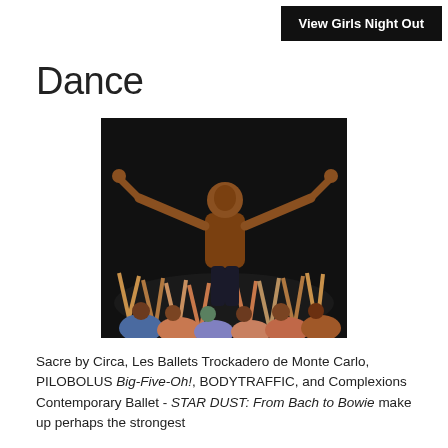View Girls Night Out
Dance
[Figure (photo): A dance performance photo showing a male dancer elevated with arms outstretched wide, and a group of dancers below reaching their arms upward toward him, on a dark stage.]
Sacre by Circa, Les Ballets Trockadero de Monte Carlo, PILOBOLUS Big-Five-Oh!, BODYTRAFFIC, and Complexions Contemporary Ballet - STAR DUST: From Bach to Bowie make up perhaps the strongest